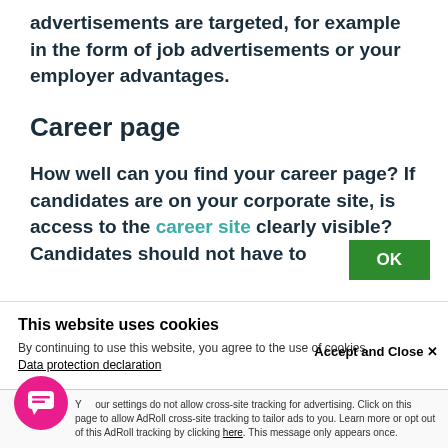advertisements are targeted, for example in the form of job advertisements or your employer advantages.
Career page
How well can you find your career page? If candidates are on your corporate site, is access to the career site clearly visible? Candidates should not have to
This website uses cookies
By continuing to use this website, you agree to the use of cookies. Data protection declaration
OK
Accept and Close ✕
Your settings do not allow cross-site tracking for advertising. Click on this page to allow AdRoll cross-site tracking to tailor ads to you. Learn more or opt out of this AdRoll tracking by clicking here. This message only appears once.